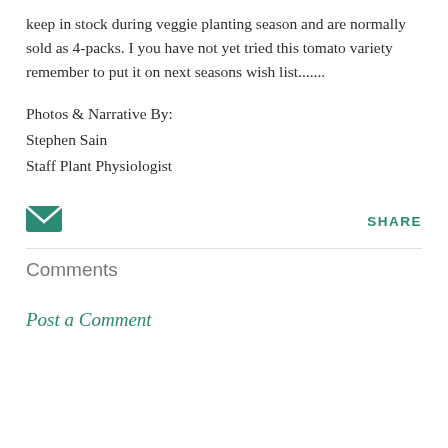keep in stock during veggie planting season and are normally sold as 4-packs. I you have not yet tried this tomato variety remember to put it on next seasons wish list.......
Photos & Narrative By:
Stephen Sain
Staff Plant Physiologist
[Figure (illustration): Email envelope icon (teal/green) on left; SHARE text link on right]
Comments
Post a Comment